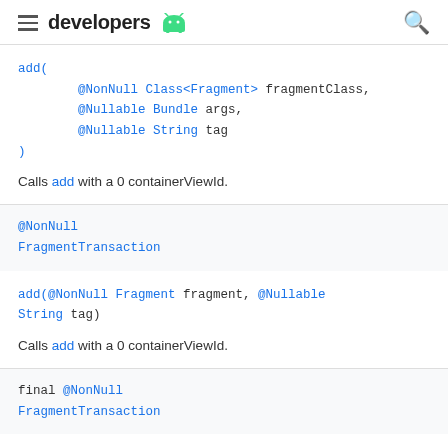developers
add(
    @NonNull Class<Fragment> fragmentClass,
    @Nullable Bundle args,
    @Nullable String tag
)
Calls add with a 0 containerViewId.
@NonNull
FragmentTransaction
add(@NonNull Fragment fragment, @Nullable String tag)
Calls add with a 0 containerViewId.
final @NonNull
FragmentTransaction